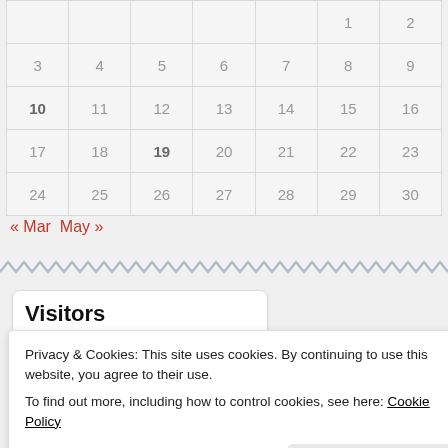|  |  |  |  |  | 1 | 2 |
| 3 | 4 | 5 | 6 | 7 | 8 | 9 |
| 10 | 11 | 12 | 13 | 14 | 15 | 16 |
| 17 | 18 | 19 | 20 | 21 | 22 | 23 |
| 24 | 25 | 26 | 27 | 28 | 29 | 30 |
« Mar  May »
[Figure (illustration): Zigzag/wavy decorative separator line]
Visitors
US  9,553    AU  124
Privacy & Cookies: This site uses cookies. By continuing to use this website, you agree to their use.
To find out more, including how to control cookies, see here: Cookie Policy
Close and accept